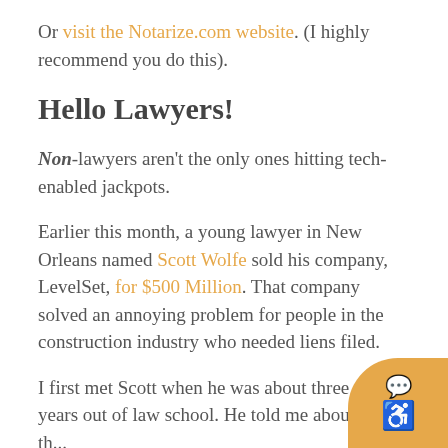Or visit the Notarize.com website. (I highly recommend you do this).
Hello Lawyers!
Non-lawyers aren't the only ones hitting tech-enabled jackpots.
Earlier this month, a young lawyer in New Orleans named Scott Wolfe sold his company, LevelSet, for $500 Million. That company solved an annoying problem for people in the construction industry who needed liens filed.
I first met Scott when he was about three years out of law school. He told me about the...